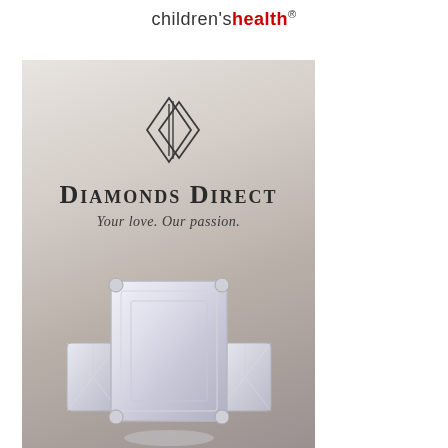childrenshealth®
[Figure (illustration): Diamonds Direct advertisement on a silver/grey gradient background. Features the Diamonds Direct diamond-shaped logo (two overlapping diamond outlines with vertical lines), the brand name 'DIAMONDS DIRECT' in large serif small-caps, tagline 'Your love. Our passion.' in italic serif, and a photo of a large emerald-cut diamond ring in the center with two baguette side stones at the bottom of the ad.]